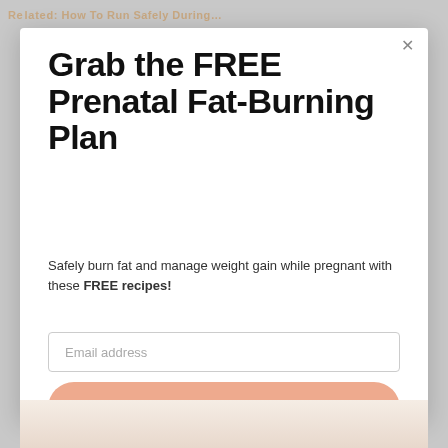Related: How To Run Safely During…
Grab the FREE Prenatal Fat-Burning Plan
Safely burn fat and manage weight gain while pregnant with these FREE recipes!
[Figure (screenshot): Email address input field with placeholder text 'Email address']
[Figure (screenshot): Subscribe button with salmon/peach rounded rectangle background]
[Figure (photo): Partial photo of a person at the bottom of the modal]